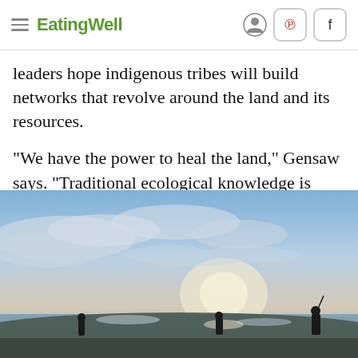EatingWell
leaders hope indigenous tribes will build networks that revolve around the land and its resources.
"We have the power to heal the land," Gensaw says. "Traditional ecological knowledge is what's going to save our way of life."
[Figure (photo): Three silhouetted figures standing along a shoreline under a dramatic cloudy sky at sunset or dusk, with water and ice visible in the background.]